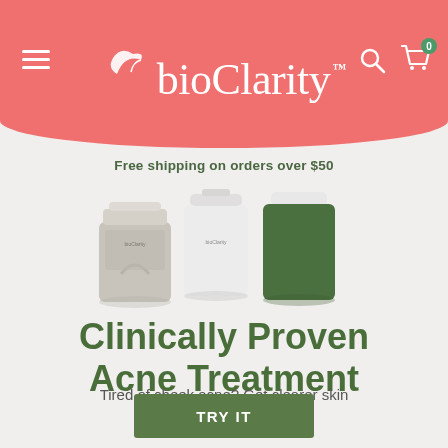bioClarity
Free shipping on orders over $50
[Figure (photo): Three bioClarity skincare product containers arranged side by side: a gray/beige pump container, a white cylindrical tube, and a dark green cylindrical container]
Clinically Proven Acne Treatment
Tired of cheek acne? Get clearer skin in as little as 2 weeks!
TRY IT